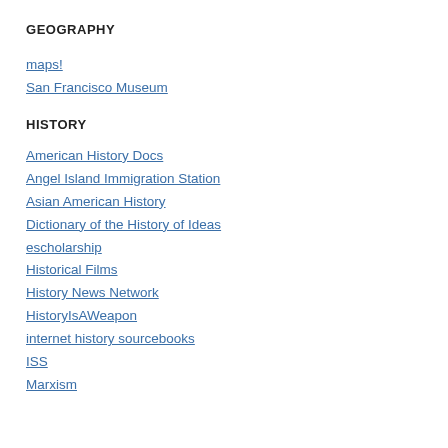GEOGRAPHY
maps!
San Francisco Museum
HISTORY
American History Docs
Angel Island Immigration Station
Asian American History
Dictionary of the History of Ideas
escholarship
Historical Films
History News Network
HistoryIsAWeapon
internet history sourcebooks
ISS
Marxism